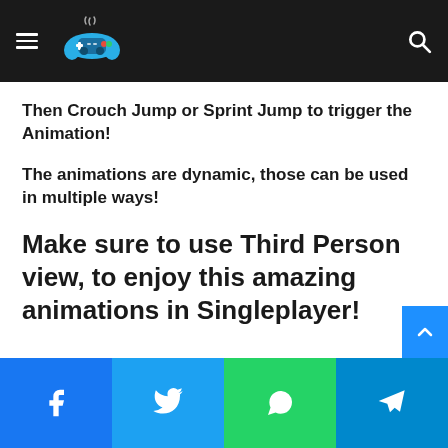[Gaming site header with logo and navigation]
Then Crouch Jump or Sprint Jump to trigger the Animation!
The animations are dynamic, those can be used in multiple ways!
Make sure to use Third Person view, to enjoy this amazing animations in Singleplayer!
[Social share bar: Facebook, Twitter, WhatsApp, Telegram]